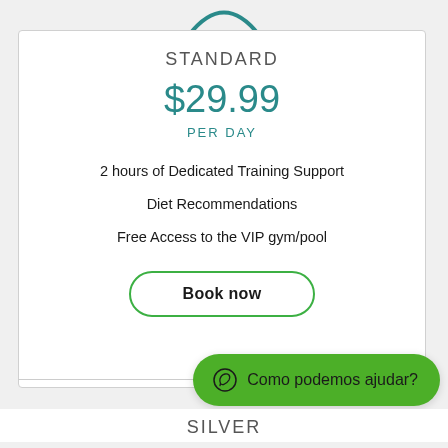[Figure (logo): Partial teal arc/smile logo at top of page]
STANDARD
$29.99
PER DAY
2 hours of Dedicated Training Support
Diet Recommendations
Free Access to the VIP gym/pool
Book now
Como podemos ajudar?
SILVER